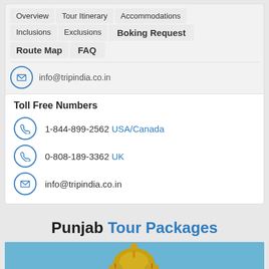Overview | Tour Itinerary | Accommodations | Inclusions | Exclusions | Boking Request | Route Map | FAQ
info@tripindia.co.in
Toll Free Numbers
1-844-899-2562 USA/Canada
0-808-189-3362 UK
info@tripindia.co.in
Punjab Tour Packages
[Figure (photo): Golden Temple or similar Punjabi landmark with golden domes against a blue sky]